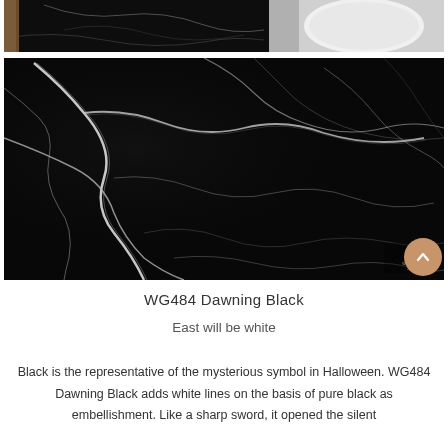[Figure (photo): Top partial image showing black marble surface on left and white/light colored surface on right, with wooden element visible at far left]
[Figure (photo): Large close-up photo of black marble slab (WG484 Dawning Black) with white veining patterns running diagonally across the surface. Wayon logo visible in bottom right corner.]
WG484 Dawning Black
East will be white
Black is the representative of the mysterious symbol in Halloween. WG484 Dawning Black adds white lines on the basis of pure black as embellishment. Like a sharp sword, it opened the silent